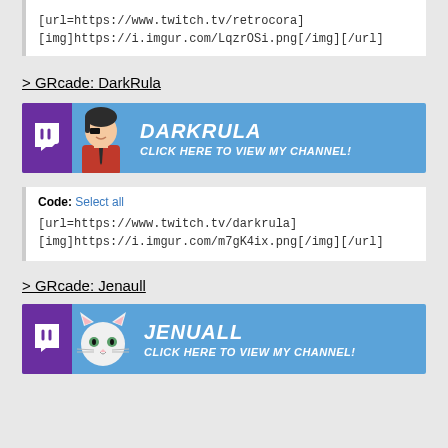[url=https://www.twitch.tv/retrocora]
[img]https://i.imgur.com/LqzrOSi.png[/img][/url]
> GRcade: DarkRula
[Figure (illustration): Twitch channel banner for DarkRula with blue background, Twitch logo, character avatar, and text DARKRULA CLICK HERE TO VIEW MY CHANNEL!]
Code: Select all
[url=https://www.twitch.tv/darkrula]
[img]https://i.imgur.com/m7gK4ix.png[/img][/url]
> GRcade: Jenaull
[Figure (illustration): Twitch channel banner for Jenuall with blue background, Twitch logo, cat avatar, and text JENUALL CLICK HERE TO VIEW MY CHANNEL!]